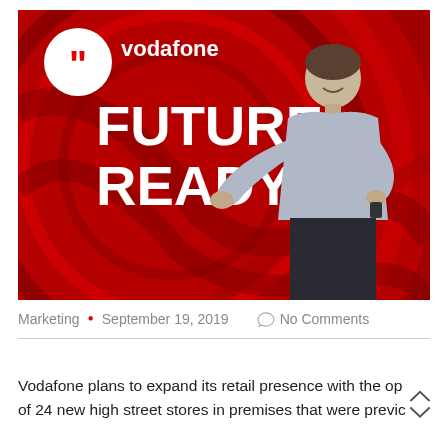[Figure (photo): A man presenting on stage in front of a large red Vodafone 'Future Ready' backdrop with swirling red design elements and the Vodafone logo.]
Marketing • September 19, 2019   No Comments
Vodafone plans to expand its retail presence with the op of 24 new high street stores in premises that were previc